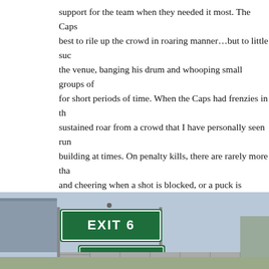support for the team when they needed it most. The Caps best to rile up the crowd in roaring manner…but to little suc the venue, banging his drum and whooping small groups of for short periods of time. When the Caps had frenzies in th sustained roar from a crowd that I have personally seen rur building at times. On penalty kills, there are rarely more tha and cheering when a shot is blocked, or a puck is cleared t booming hit, or a scrum in front of the net, people should be with them, instead of quieting down after a few seconds. team will thrive off the energy produced from huge group o takes is a little kick in the butt from the fans to boost a tea the pace of the game. Unleashing the fury should come fo seconds with 5 minutes remaining in the 3rd, down by a go crazy idiot…you're at a hockey game, most likely surrounde as you…we live in D.C, and drive in and out of it everyday.
[Figure (photo): A highway exit sign showing EXIT 6 in white text on a green background, with a street sign below reading C St SW]